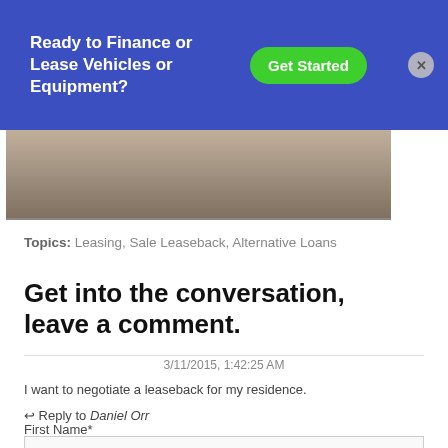[Figure (other): Blue banner advertisement: 'Ready to Finance or Lease Vehicles or Equipment?' with a green 'Get Started' button and a close (X) button]
[Figure (photo): Partial photo of dirt/construction ground with vehicle tracks visible at the top of the page content area]
Topics: Leasing, Sale Leaseback, Alternative Loans
Get into the conversation, leave a comment.
3/11/2015, 1:42:25 AM
I want to negotiate a leaseback for my residence.
↩ Reply to Daniel Orr
First Name*